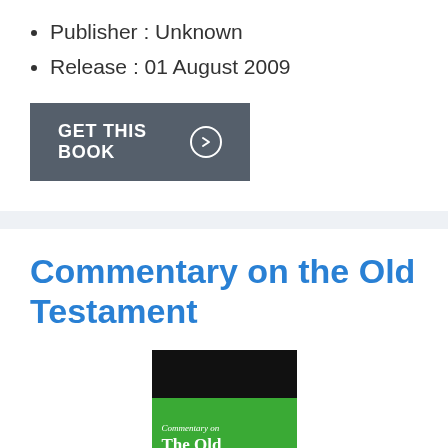Publisher : Unknown
Release : 01 August 2009
[Figure (other): Dark grey button with text GET THIS BOOK and a right-arrow circle icon]
Commentary on the Old Testament
[Figure (photo): Book cover of 'Commentary on the Old Testament' with black top and bottom sections and a green band in the middle showing the title in white serif text]